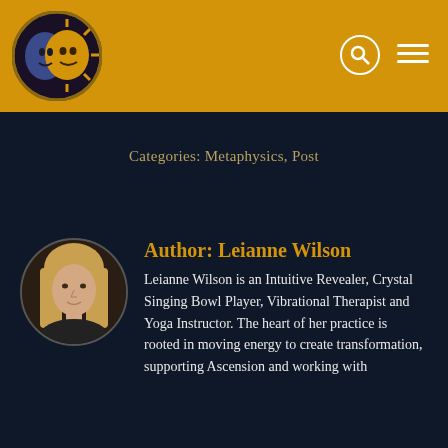[Figure (logo): Sun and moon face logo in circular golden frame]
Categories: Metaphysics, Post
Author: Leianne Wilson
[Figure (photo): Circular headshot photo of Leianne Wilson, a woman with long blonde hair]
Leianne Wilson is an Intuitive Revealer, Crystal Singing Bowl Player, Vibrational Therapist and Yoga Instructor. The heart of her practice is rooted in moving energy to create transformation, supporting Ascension and working with